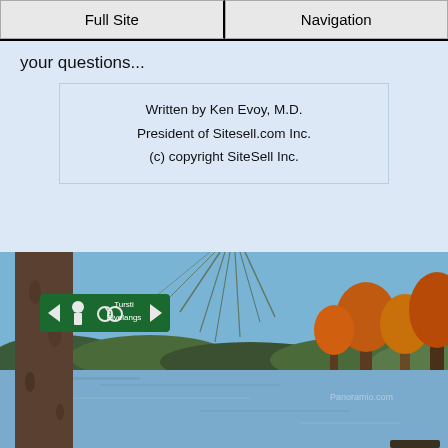Full Site | Navigation
your questions...
Written by Ken Evoy, M.D.
President of Sitesell.com Inc.
(c) copyright SiteSell Inc.
[Figure (photo): Outdoor nature photo showing a river or lake scene with trees, a weeping willow, autumn foliage, and a directional sign reading 'Tursti Elvelangs' with arrows]
Cookies help us deliver our services. By using our services, you agree to our use of cookies. Learn more.
Got it!